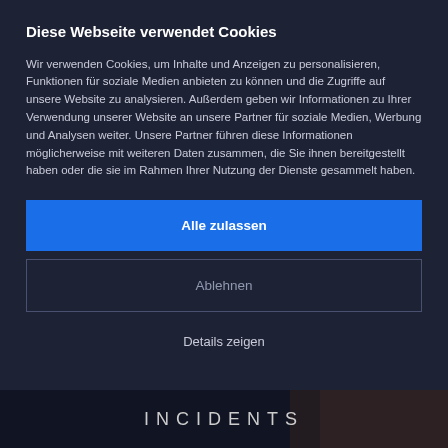Diese Webseite verwendet Cookies
Wir verwenden Cookies, um Inhalte und Anzeigen zu personalisieren, Funktionen für soziale Medien anbieten zu können und die Zugriffe auf unsere Website zu analysieren. Außerdem geben wir Informationen zu Ihrer Verwendung unserer Website an unsere Partner für soziale Medien, Werbung und Analysen weiter. Unsere Partner führen diese Informationen möglicherweise mit weiteren Daten zusammen, die Sie ihnen bereitgestellt haben oder die sie im Rahmen Ihrer Nutzung der Dienste gesammelt haben.
Alle zulassen
Ablehnen
Details zeigen
[Figure (screenshot): Bottom banner showing partial text 'INCIDENTS' in large spaced white letters on dark background with a photo partially visible on the right side]